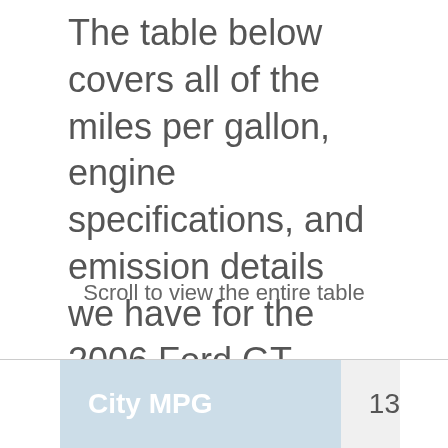The table below covers all of the miles per gallon, engine specifications, and emission details we have for the 2006 Ford GT 2WD.
Scroll to view the entire table
| City MPG |  |
| --- | --- |
| City MPG | 13 |